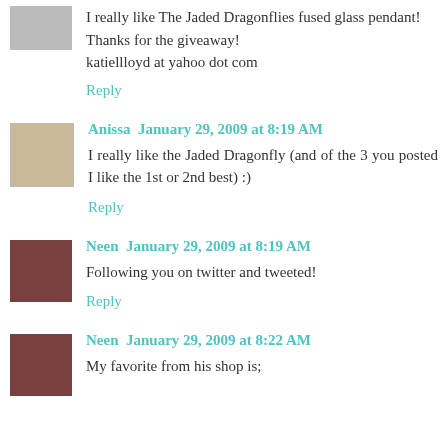I really like The Jaded Dragonflies fused glass pendant! Thanks for the giveaway!
katiellloyd at yahoo dot com
Reply
Anissa  January 29, 2009 at 8:19 AM
I really like the Jaded Dragonfly (and of the 3 you posted I like the 1st or 2nd best) :)
Reply
Neen  January 29, 2009 at 8:19 AM
Following you on twitter and tweeted!
Reply
Neen  January 29, 2009 at 8:22 AM
My favorite from his shop is;